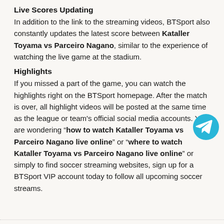Live Scores Updating
In addition to the link to the streaming videos, BTSport also constantly updates the latest score between Kataller Toyama vs Parceiro Nagano, similar to the experience of watching the live game at the stadium.
Highlights
If you missed a part of the game, you can watch the highlights right on the BTSport homepage. After the match is over, all highlight videos will be posted at the same time as the league or team's official social media accounts. You are wondering “how to watch Kataller Toyama vs Parceiro Nagano live online” or “where to watch Kataller Toyama vs Parceiro Nagano live online” or simply to find soccer streaming websites, sign up for a BTSport VIP account today to follow all upcoming soccer streams.
[Figure (logo): Telegram messenger icon - blue circle with white paper plane]